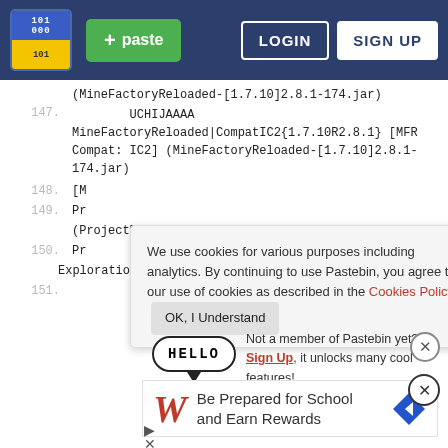Pastebin navigation bar with logo, + paste button, LOGIN and SIGN UP buttons
(MineFactoryReloaded-[1.7.10]2.8.1-174.jar)
147.    UCHIJAAAA MineFactoryReloaded|CompatIC2{1.7.10R2.8.1} [MFR Compat: IC2] (MineFactoryReloaded-[1.7.10]2.8.1-174.jar)
148. [M
149. Pr
(ProjectRed 1 7 10 4 7 0pre13 05 Base.jar)
150. Pr
ExplorationReloaded-1.7.10-4.7.0pre12.85-
151. 1}
[Figure (screenshot): Cookie consent popup: 'We use cookies for various purposes including analytics. By continuing to use Pastebin, you agree to our use of cookies as described in the Cookies Policy.' with OK, I Understand button]
[Figure (infographic): Hello speech bubble with sign up prompt: 'Not a member of Pastebin yet? Sign Up, it unlocks many cool features!']
[Figure (screenshot): Walgreens advertisement: 'Be Prepared for School and Earn Rewards' with Walgreens logo and navigation arrow icon]